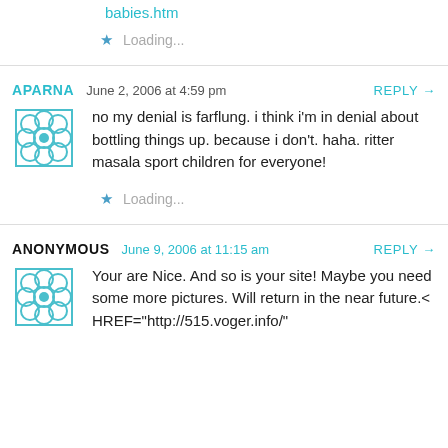babies.htm
Loading...
APARNA   June 2, 2006 at 4:59 pm   REPLY →
no my denial is farflung. i think i'm in denial about bottling things up. because i don't. haha. ritter masala sport children for everyone!
Loading...
ANONYMOUS   June 9, 2006 at 11:15 am   REPLY →
Your are Nice. And so is your site! Maybe you need some more pictures. Will return in the near future.< HREF="http://515.voger.info/"